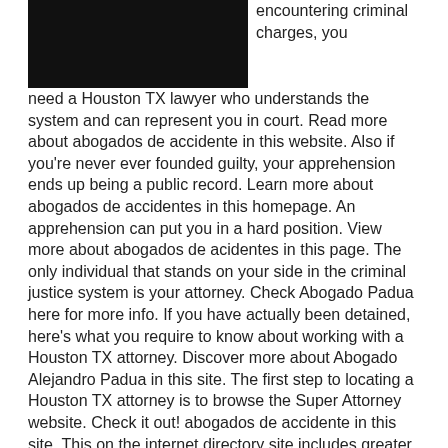[Figure (photo): Dark/black image at top left, likely a photo of a person or scene]
encountering criminal charges, you need a Houston TX lawyer who understands the system and can represent you in court. Read more about abogados de accidente in this website. Also if you're never ever founded guilty, your apprehension ends up being a public record. Learn more about abogados de accidentes in this homepage. An apprehension can put you in a hard position. View more about abogados de acidentes in this page. The only individual that stands on your side in the criminal justice system is your attorney. Check Abogado Padua here for more info. If you have actually been detained, here's what you require to know about working with a Houston TX attorney. Discover more about Abogado Alejandro Padua in this site. The first step to locating a Houston TX attorney is to browse the Super Attorney website. Check it out! abogados de accidente in this site. This on the internet directory site includes greater than one million listings for lawyers across the nation. Read abogados de accidentes here for more info. Aside from information on each lawyer's history and also experience, there's additionally a section dedicated to peer recommendations. Click abogado de accidentes here for more